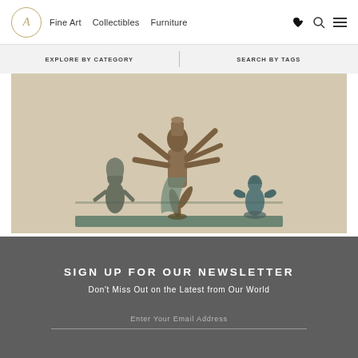A Fine Art Collectibles Furniture
EXPLORE BY CATEGORY | SEARCH BY TAGS
[Figure (photo): Bronze statue of a multi-armed dancing Hindu deity (likely Shiva Nataraja) flanked by two smaller kneeling figures, set against a beige background]
SIGN UP FOR OUR NEWSLETTER
Don't Miss Out on the Latest from Our World
Enter Your Email Address